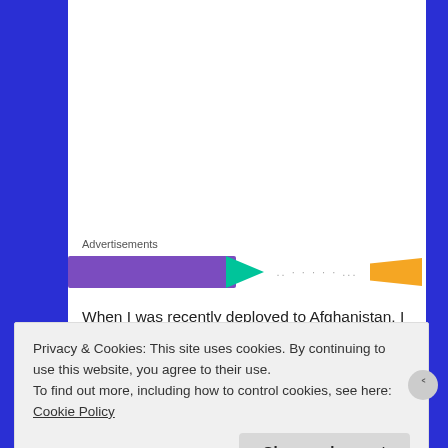[Figure (photo): Top portion of a photo showing what appears to be a training rig/equipment inside a shipping container]
This training rig inside my shipping container dorm room in Afghanistan put me in pretty good shape.
Advertisements
[Figure (other): Advertisement banner with purple, teal, and orange colored blocks with dots text]
When I was recently deployed to Afghanistan, I had a similar problem. My “dorm room” was a 7’x20’ Conex shipping container that I shared with a roommate. Drilling holes was out of the question,
Privacy & Cookies: This site uses cookies. By continuing to use this website, you agree to their use.
To find out more, including how to control cookies, see here: Cookie Policy
Close and accept